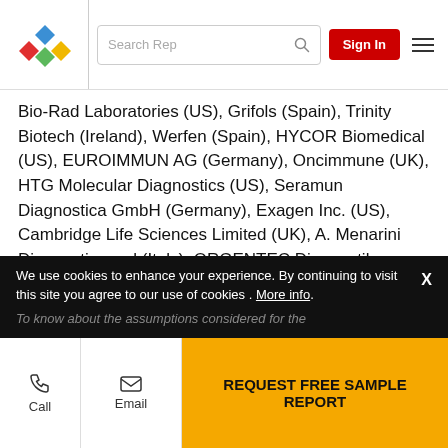[Figure (screenshot): Website header with colorful diamond logo, search bar with magnifier icon, red Sign In button, and hamburger menu icon]
Bio-Rad Laboratories (US), Grifols (Spain), Trinity Biotech (Ireland), Werfen (Spain), HYCOR Biomedical (US), EUROIMMUN AG (Germany), Oncimmune (UK), HTG Molecular Diagnostics (US), Seramun Diagnostica GmbH (Germany), Exagen Inc. (US), Cambridge Life Sciences Limited (UK), A. Menarini Diagnostics s.r.l (Italy), ORGENTEC Diagnostika (Germany), KRONUS (US), and AESKU GROUP GMBH & CO. KG (Germany).
The players in this market are mainly focused on product launches/approvals, expansion, collaborations, partnerships, and acquisitions to develop and expand their market presence between 2017 and 2020.
To know about the assumptions considered for the
We use cookies to enhance your experience. By continuing to visit this site you agree to our use of cookies . More info.
REQUEST FREE SAMPLE REPORT